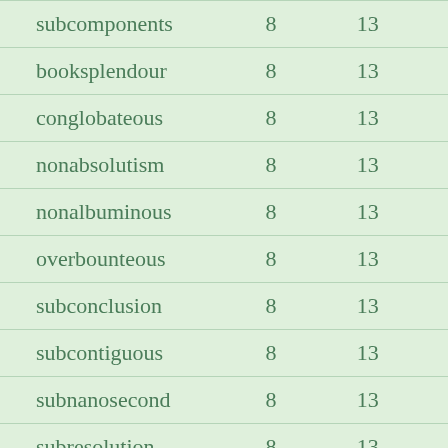| subcomponents | 8 | 13 |
| booksplendour | 8 | 13 |
| conglobateous | 8 | 13 |
| nonabsolutism | 8 | 13 |
| nonalbuminous | 8 | 13 |
| overbounteous | 8 | 13 |
| subconclusion | 8 | 13 |
| subcontiguous | 8 | 13 |
| subnanosecond | 8 | 13 |
| subresolution | 8 | 13 |